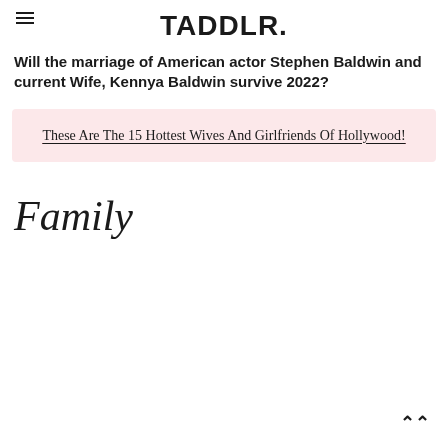TADDLR.
Will the marriage of American actor Stephen Baldwin and current Wife, Kennya Baldwin survive 2022?
These Are The 15 Hottest Wives And Girlfriends Of Hollywood!
Family